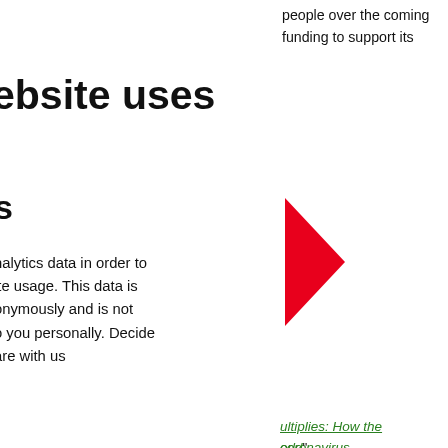people over the coming funding to support its
ebsite uses
s
analytics data in order to ite usage. This data is onymously and is not o you personally. Decide are with us
[Figure (illustration): Red right-pointing arrow/chevron shape]
ultiplies: How the coronavirus orld".
hase Classification is a scale od insecurity into five hase 5, with the most ase 5.
ge increase in those suffering g the total number of people in data, including current ose in IPC 5 at end of 2019
cookies
nly essential cookies